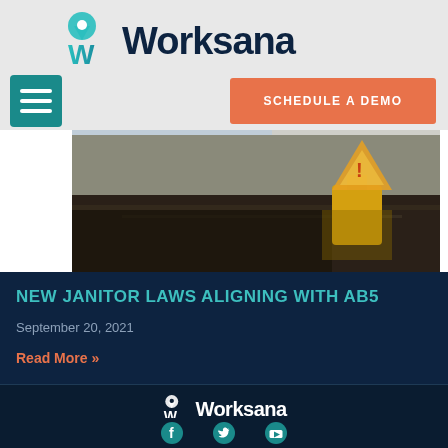Worksana
[Figure (logo): Worksana logo with teal W icon and dark navy text]
[Figure (photo): Photo of wet floor with yellow caution sign and cleaning supplies in background]
NEW JANITOR LAWS ALIGNING WITH AB5
September 20, 2021
Read More »
Worksana
Copyright © 2020 Worksana, Inc.